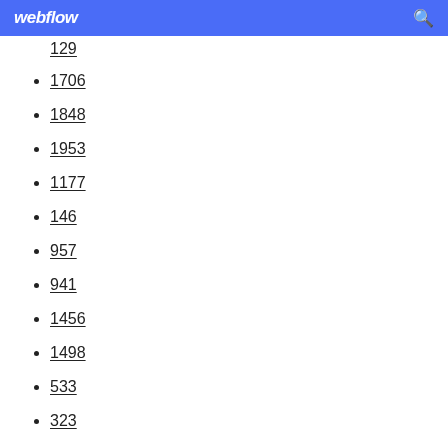webflow
129
1706
1848
1953
1177
146
957
941
1456
1498
533
323
1113